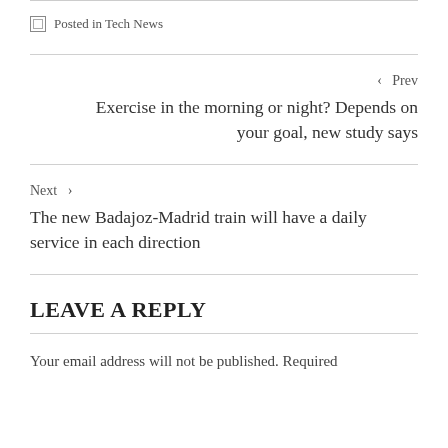Posted in Tech News
‹  Prev
Exercise in the morning or night? Depends on your goal, new study says
Next  ›
The new Badajoz-Madrid train will have a daily service in each direction
LEAVE A REPLY
Your email address will not be published. Required